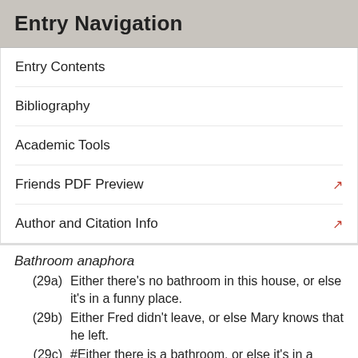Entry Navigation
Entry Contents
Bibliography
Academic Tools
Friends PDF Preview
Author and Citation Info
Bathroom anaphora
(29a)   Either there's no bathroom in this house, or else it's in a funny place.
(29b)   Either Fred didn't leave, or else Mary knows that he left.
(29c)   #Either there is a bathroom, or else it's in a funny place.
(29d)   Either Fred left, or else Mary knows that he left.
In order to account for these parallels, van der Sandt proposed a unified treatment of presupposition and